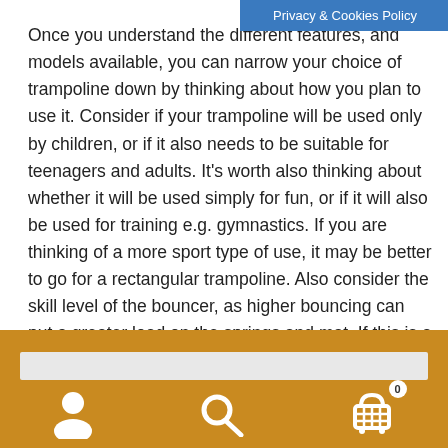Privacy & Cookies Policy
Once you understand the different features, and models available, you can narrow your choice of trampoline down by thinking about how you plan to use it. Consider if your trampoline will be used only by children, or if it also needs to be suitable for teenagers and adults. It's worth also thinking about whether it will be used simply for fun, or if it will also be used for training e.g. gymnastics. If you are thinking of a more sport type of use, it may be better to go for a rectangular trampoline. Also consider the skill level of the bouncer, as higher bouncing can put a greater load on the springs and mat. If this is a consideration, a slightly larger trampoline may be the best choice.
[search bar] [user icon] [search icon] [cart icon with badge 0]